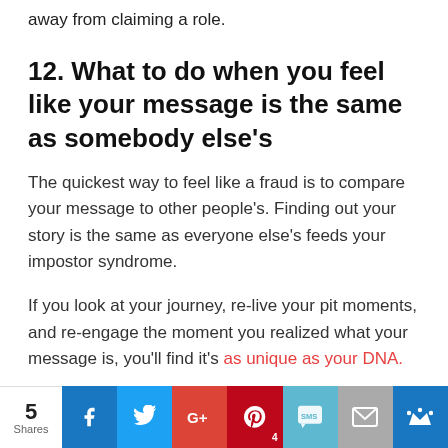away from claiming a role.
12. What to do when you feel like your message is the same as somebody else's
The quickest way to feel like a fraud is to compare your message to other people's. Finding out your story is the same as everyone else's feeds your impostor syndrome.
If you look at your journey, re-live your pit moments, and re-engage the moment you realized what your message is, you'll find it's as unique as your DNA.